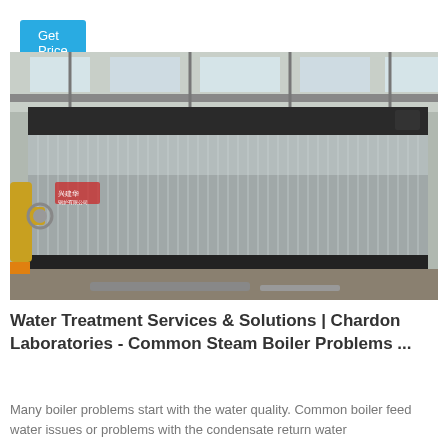Get Price
[Figure (photo): Industrial steam boiler with corrugated metal casing inside a factory building. Yellow pipes visible on the left side. Overhead structure and skylights visible above.]
Water Treatment Services & Solutions | Chardon Laboratories - Common Steam Boiler Problems ...
Many boiler problems start with the water quality. Common boiler feed water issues or problems with the condensate return water